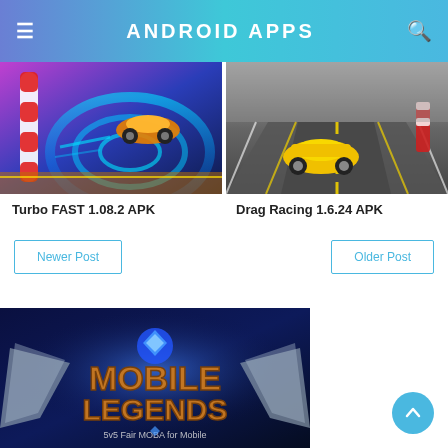ANDROID APPS
[Figure (screenshot): Turbo FAST racing game screenshot - colorful cartoon style racing with neon blue spiral track]
Turbo FAST 1.08.2 APK
[Figure (screenshot): Drag Racing game screenshot - realistic yellow car on a drag racing track with road markings]
Drag Racing 1.6.24 APK
Newer Post
Older Post
[Figure (screenshot): Mobile Legends 5v5 Fair MOBA for Mobile game logo on dark background with fantasy style lettering and wing artwork]